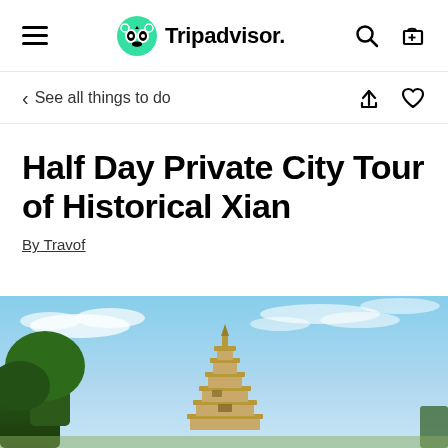Tripadvisor
See all things to do
Half Day Private City Tour of Historical Xian
By Travof
[Figure (photo): Photo of a historical pagoda tower (likely the Giant Wild Goose Pagoda in Xian) against a blue sky with wispy clouds and trees in the foreground]